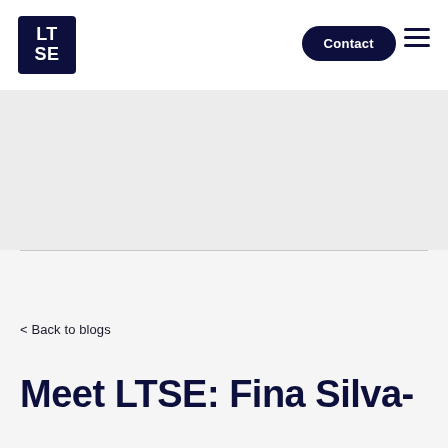[Figure (logo): LTSE logo — dark navy square with white bold text LT over SE]
Contact
< Back to blogs
Meet LTSE: Fina Silva-